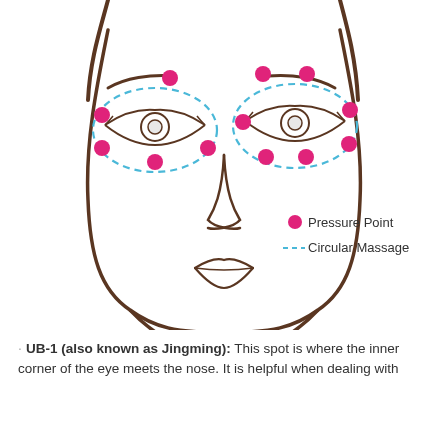[Figure (illustration): Illustration of a face showing pressure points (pink dots) and circular massage areas (blue dashed ovals) around both eyes. A legend in the lower right of the image shows a pink dot labeled 'Pressure Point' and a blue dashed line labeled 'Circular Massage'.]
UB-1 (also known as Jingming): This spot is where the inner corner of the eye meets the nose. It is helpful when dealing with